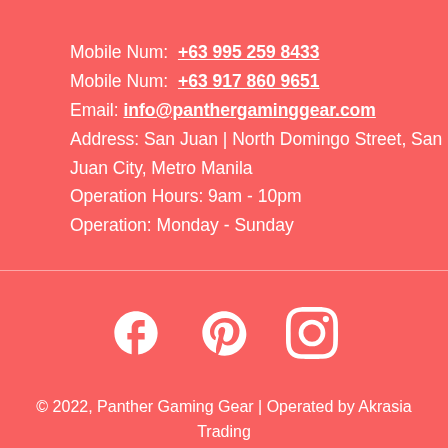Mobile Num: +63 995 259 8433
Mobile Num: +63 917 860 9651
Email: info@panthergaminggear.com
Address: San Juan | North Domingo Street, San Juan City, Metro Manila
Operation Hours: 9am - 10pm
Operation: Monday - Sunday
[Figure (other): Social media icons: Facebook, Pinterest, Instagram]
© 2022, Panther Gaming Gear | Operated by Akrasia Trading